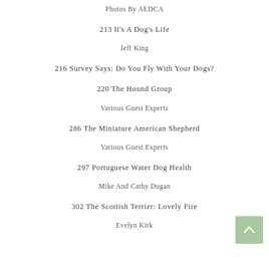Photos By AEDCA
213 It's A Dog's Life
Jeff King
216 Survey Says: Do You Fly With Your Dogs?
220 The Hound Group
Various Guest Experts
286 The Miniature American Shepherd
Various Guest Experts
297 Portuguese Water Dog Health
Mike And Cathy Dugan
302 The Scottish Terrier: Lovely Fire
Evelyn Kirk